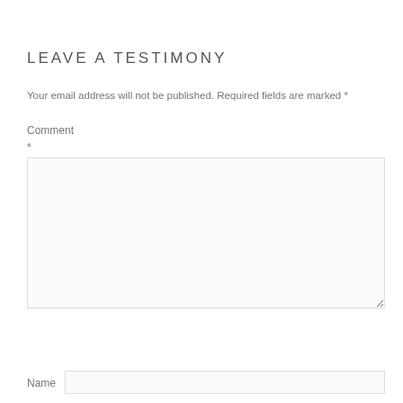LEAVE A TESTIMONY
Your email address will not be published. Required fields are marked *
Comment *
Name